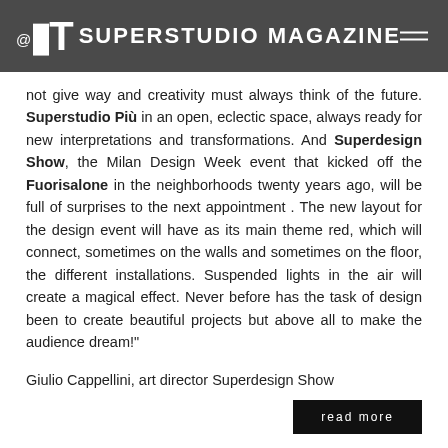@AT SUPERSTUDIO MAGAZINE
not give way and creativity must always think of the future. Superstudio Più in an open, eclectic space, always ready for new interpretations and transformations. And Superdesign Show, the Milan Design Week event that kicked off the Fuorisalone in the neighborhoods twenty years ago, will be full of surprises to the next appointment . The new layout for the design event will have as its main theme red, which will connect, sometimes on the walls and sometimes on the floor, the different installations. Suspended lights in the air will create a magical effect. Never before has the task of design been to create beautiful projects but above all to make the audience dream!"
Giulio Cappellini, art director Superdesign Show